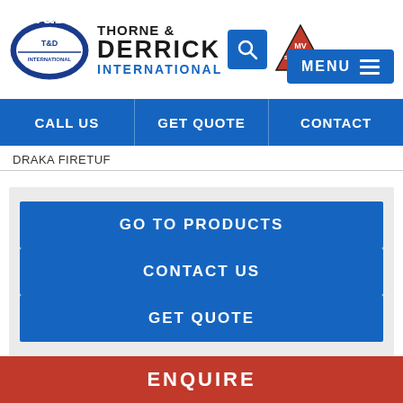[Figure (logo): Thorne & Derrick International logo with T&D oval badge, company name text, search icon button, MV Specialists triangle logo, and MENU button]
CALL US | GET QUOTE | CONTACT
DRAKA FIRETUF
GO TO PRODUCTS
CONTACT US
GET QUOTE
ENQUIRE